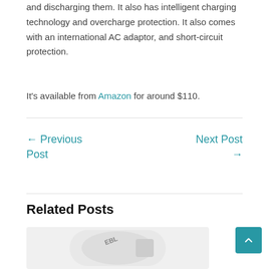and discharging them. It also has intelligent charging technology and overcharge protection. It also comes with an international AC adaptor, and short-circuit protection.
It's available from Amazon for around $110.
← Previous Post
Next Post →
Related Posts
[Figure (photo): Photo of an EBL branded charger device on a white/light gray background]